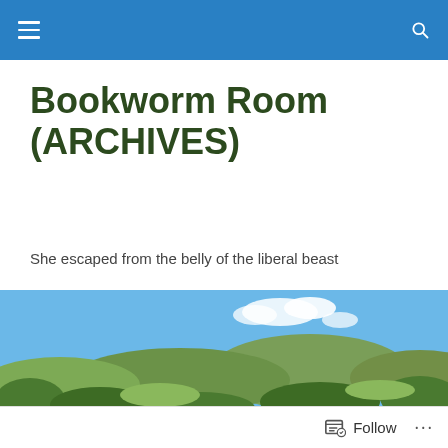Bookworm Room (ARCHIVES) — navigation bar
Bookworm Room
(ARCHIVES)
She escaped from the belly of the liberal beast
[Figure (photo): Panoramic landscape photo of green rolling hills with trees under a blue sky with clouds]
POSTED IN CHINA
They really, really respect us, now